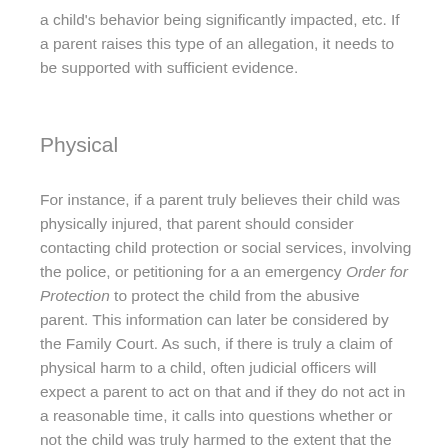a child's behavior being significantly impacted, etc. If a parent raises this type of an allegation, it needs to be supported with sufficient evidence.
Physical
For instance, if a parent truly believes their child was physically injured, that parent should consider contacting child protection or social services, involving the police, or petitioning for a an emergency Order for Protection to protect the child from the abusive parent. This information can later be considered by the Family Court. As such, if there is truly a claim of physical harm to a child, often judicial officers will expect a parent to act on that and if they do not act in a reasonable time, it calls into questions whether or not the child was truly harmed to the extent that the parent claims.